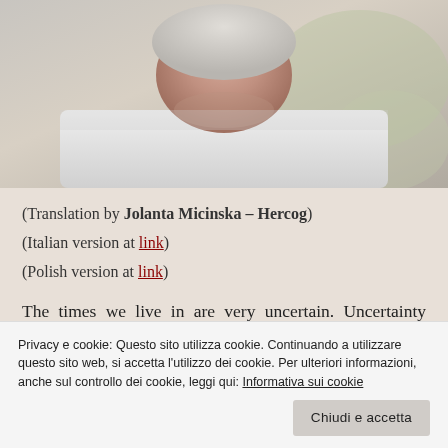[Figure (photo): Close-up photo of an elderly man wearing a white shirt, head bowed down, with blurred greenery in background.]
(Translation by Jolanta Micinska – Hercog)
(Italian version at link)
(Polish version at link)
The times we live in are very uncertain. Uncertainty reigns in many ways. The virus is
Privacy e cookie: Questo sito utilizza cookie. Continuando a utilizzare questo sito web, si accetta l'utilizzo dei cookie. Per ulteriori informazioni, anche sul controllo dei cookie, leggi qui: Informativa sui cookie
Chiudi e accetta
control too. One thing is certain, the virus has